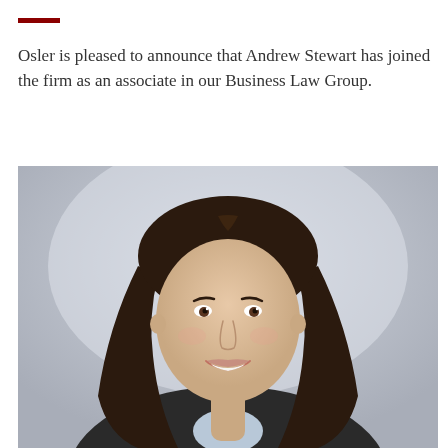Osler is pleased to announce that Andrew Stewart has joined the firm as an associate in our Business Law Group.
[Figure (photo): Professional headshot of a smiling woman with long dark brown hair, wearing a dark blazer and light blue shirt, against a gray background.]